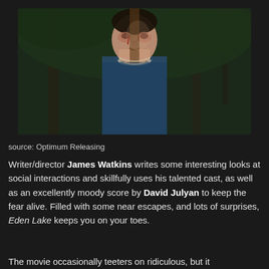[Figure (photo): A man with a bloodied face, wearing a blue shirt, appears to be tied or restrained with a chain around his neck, looking upward in a forest/outdoor setting. Film still from Eden Lake.]
source: Optimum Releasing
Writer/director James Watkins writes some interesting looks at social interactions and skillfully uses his talented cast, as well as an excellently moody score by David Julyan to keep the fear alive. Filled with some near escapes, and lots of surprises, Eden Lake keeps you on your toes.
The movie occasionally teeters on ridiculous, but it